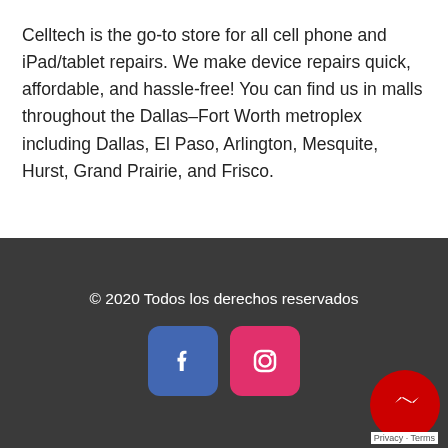Celltech is the go-to store for all cell phone and iPad/tablet repairs. We make device repairs quick, affordable, and hassle-free! You can find us in malls throughout the Dallas–Fort Worth metroplex including Dallas, El Paso, Arlington, Mesquite, Hurst, Grand Prairie, and Frisco.
© 2020 Todos los derechos reservados
[Figure (other): Social media icons: Facebook (blue rounded square) and Instagram (pink/red rounded square)]